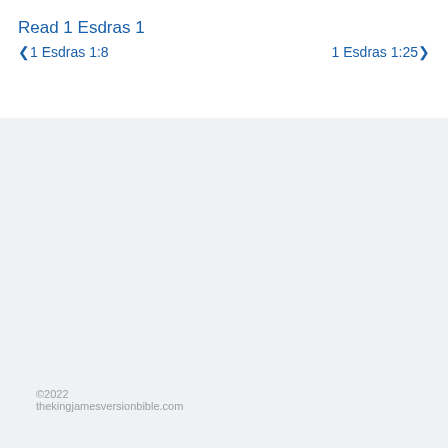Read 1 Esdras 1
❮1 Esdras 1:8    1 Esdras 1:25❯
©2022 thekingjamesversionbible.com